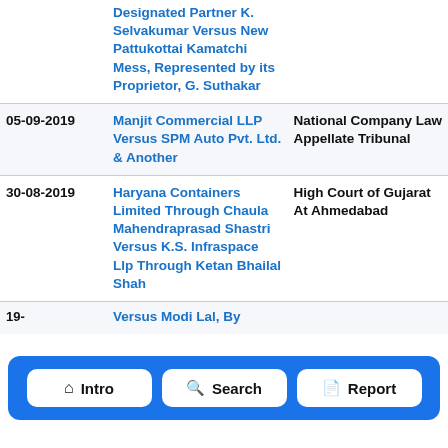| Date | Case | Court |
| --- | --- | --- |
|  | Designated Partner K. Selvakumar Versus New Pattukottai Kamatchi Mess, Represented by its Proprietor, G. Suthakar |  |
| 05-09-2019 | Manjit Commercial LLP Versus SPM Auto Pvt. Ltd. & Another | National Company Law Appellate Tribunal |
| 30-08-2019 | Haryana Containers Limited Through Chaula Mahendraprasad Shastri Versus K.S. Infraspace Llp Through Ketan Bhailal Shah | High Court of Gujarat At Ahmedabad |
| 19- | Versus Modi Lal, By |  |
[Figure (infographic): Navigation bar with three buttons: Intro (house icon), Search (magnifying glass icon), Report (document icon). Blue dashed border background.]